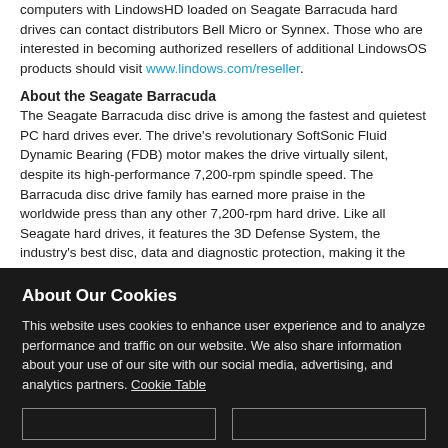computers with LindowsHD loaded on Seagate Barracuda hard drives can contact distributors Bell Micro or Synnex. Those who are interested in becoming authorized resellers of additional LindowsOS products should visit www.lindows.com/reseller.
About the Seagate Barracuda
The Seagate Barracuda disc drive is among the fastest and quietest PC hard drives ever. The drive's revolutionary SoftSonic Fluid Dynamic Bearing (FDB) motor makes the drive virtually silent, despite its high-performance 7,200-rpm spindle speed. The Barracuda disc drive family has earned more praise in the worldwide press than any other 7,200-rpm hard drive. Like all Seagate hard drives, it features the 3D Defense System, the industry's best disc, data and diagnostic protection, making it the most rugged hard drive available for personal computers.
About Our Cookies
This website uses cookies to enhance user experience and to analyze performance and traffic on our website. We also share information about your use of our site with our social media, advertising, and analytics partners. Cookie Table